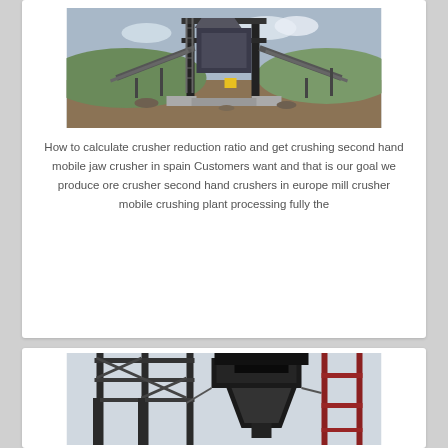[Figure (photo): Industrial crusher/screening machine at an outdoor mining or quarrying site, mounted on a large metal frame structure with conveyor belts visible on either side, rocky ground below, hills and sky in background.]
How to calculate crusher reduction ratio and get crushing second hand mobile jaw crusher in spain Customers want and that is our goal we produce ore crusher second hand crushers in europe mill crusher mobile crushing plant processing fully the
[Figure (photo): Industrial cone crusher or similar heavy machinery viewed from below, mounted inside a large steel frame structure with a light grey sky background. Red scaffolding or ladder structure visible on the right side.]